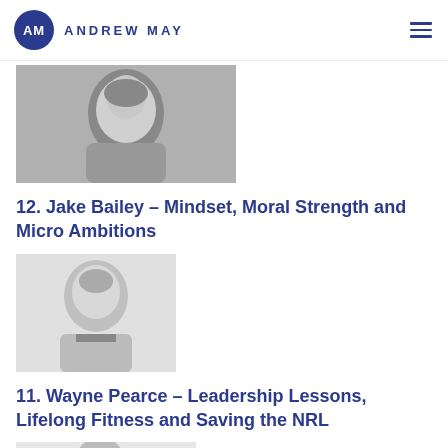AM ANDREW MAY
[Figure (photo): Black and white photo of Jake Bailey, a young man smiling, cropped at chest level]
12. Jake Bailey – Mindset, Moral Strength and Micro Ambitions
[Figure (photo): Black and white photo of Wayne Pearce, a middle-aged man in a suit, smiling]
11. Wayne Pearce – Leadership Lessons, Lifelong Fitness and Saving the NRL
[Figure (photo): Black and white photo of a woman with shoulder-length hair, smiling, wearing a patterned top, partially visible]